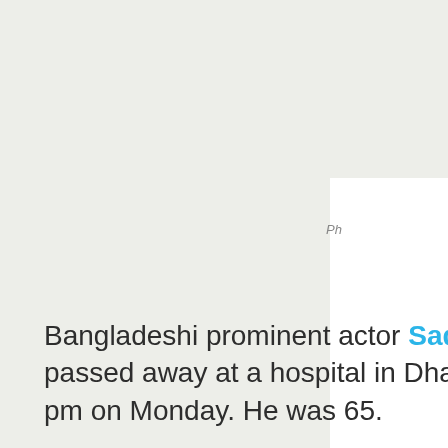[Figure (photo): Background area partially covered by a white panel on the right side, with a photo label 'Ph' partially visible]
Ph
Bangladeshi prominent actor Sadek B passed away at a hospital in Dhaka ar pm on Monday. He was 65.